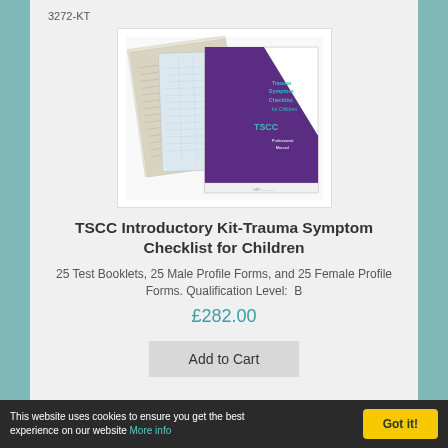3272-KT
[Figure (photo): Product photo of the TSCC Introductory Kit showing test booklets, profile forms, and a Professional Manual with a purple diagonal stripe design and TSCC label]
TSCC Introductory Kit-Trauma Symptom Checklist for Children
25 Test Booklets, 25 Male Profile Forms, and 25 Female Profile Forms. Qualification Level:  B
£282.00
Add to Cart
This website uses cookies to ensure you get the best experience on our website More info  Got it!